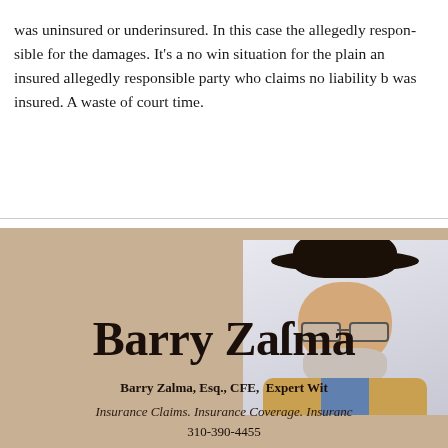was uninsured or underinsured. In this case the allegedly responsible party was responsible for the damages. It's a no win situation for the plaintiff with an insured allegedly responsible party who claims no liability because the other driver was insured. A waste of court time.
[Figure (infographic): Barry Zalma author card with photo. Shows a man wearing a black cowboy hat, glasses, and white beard, in a tan/beige card layout. Card includes name 'Barry Zalma', credentials 'Barry Zalma, Esq., CFE, Expert Wit...', specialty text 'Insurance Claims. Insurance Coverage. Insuranc...', and phone number '310-390-4455'.]